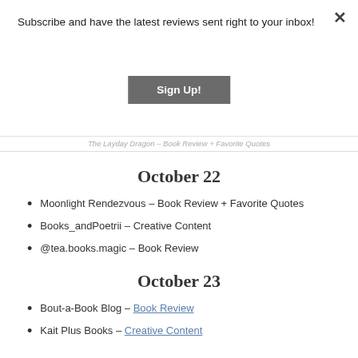Subscribe and have the latest reviews sent right to your inbox!
Sign Up!
The Layday Dragon – Book Review + Favorite Quotes
October 22
Moonlight Rendezvous – Book Review + Favorite Quotes
Books_andPoetrii – Creative Content
@tea.books.magic – Book Review
October 23
Bout-a-Book Blog – Book Review
Kait Plus Books – Creative Content